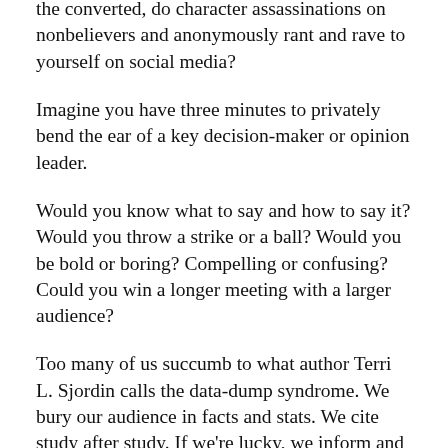...you will people over. Or do you just preach to the converted, do character assassinations on nonbelievers and anonymously rant and rave to yourself on social media?
Imagine you have three minutes to privately bend the ear of a key decision-maker or opinion leader.
Would you know what to say and how to say it? Would you throw a strike or a ball? Would you be bold or boring? Compelling or confusing? Could you win a longer meeting with a larger audience?
Too many of us succumb to what author Terri L. Sjordin calls the data-dump syndrome. We bury our audience in facts and stats. We cite study after study. If we're lucky, we inform and educate. But we never persuade and inspire.
What separating really...